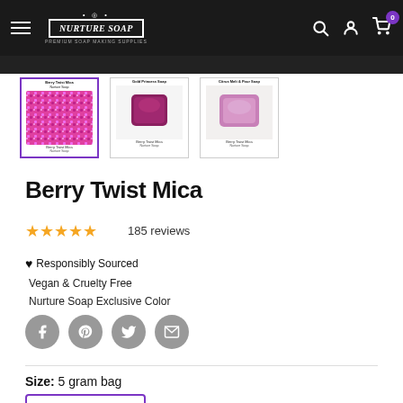Nurture Soap — Premium Soap Making Supplies
[Figure (photo): Three product thumbnail images for Berry Twist Mica: first showing pink/magenta mica powder, second showing a dark pink soap bar labeled Gold Princess Soap, third showing a lighter pink soap bar labeled Citrus Melt & Pour Soap. Each thumbnail has 'Berry Twist Mica' and 'Nurture Soap' text below. The first thumbnail is selected with a purple border.]
Berry Twist Mica
★★★★★ 185 reviews
♥ Responsibly Sourced
Vegan & Cruelty Free
Nurture Soap Exclusive Color
Social share icons: Facebook, Pinterest, Twitter, Email
Size:  5 gram bag